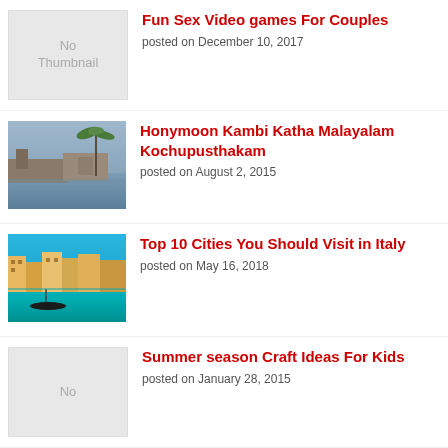[Figure (illustration): No Thumbnail placeholder image (grey box with 'No Thumbnail' text)]
Fun Sex Video games For Couples
posted on December 10, 2017
[Figure (photo): Photo of a tropical waterway with palm trees, buildings along the shore, Kerala backwaters style]
Honymoon Kambi Katha Malayalam Kochupusthakam
posted on August 2, 2015
[Figure (photo): Photo of Venice canals with colorful buildings along turquoise water, gondola visible]
Top 10 Cities You Should Visit in Italy
posted on May 16, 2018
[Figure (illustration): No Thumbnail placeholder image (grey box with 'No' text visible, partially cut off)]
Summer season Craft Ideas For Kids
posted on January 28, 2015